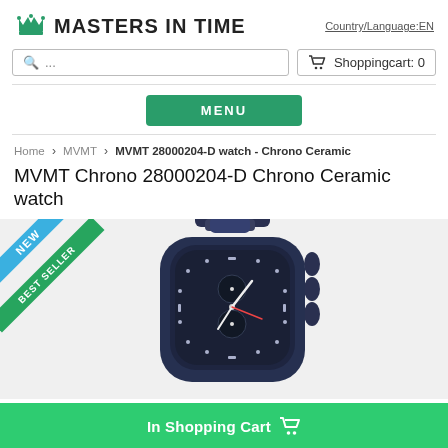MASTERS IN TIME | Country/Language:EN
Shoppingcart: 0
MENU
Home > MVMT > MVMT 28000204-D watch - Chrono Ceramic
MVMT Chrono 28000204-D Chrono Ceramic watch
[Figure (photo): Close-up photo of MVMT Chrono 28000204-D Chrono Ceramic watch with NEW and BEST SELLER corner badges]
In Shopping Cart